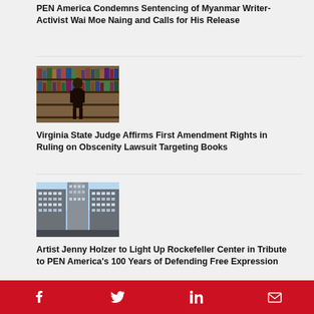PEN America Condemns Sentencing of Myanmar Writer-Activist Wai Moe Naing and Calls for His Release
[Figure (photo): Interior of a library with tall bookshelves and a person browsing]
Virginia State Judge Affirms First Amendment Rights in Ruling on Obscenity Lawsuit Targeting Books
[Figure (photo): Rockefeller Center buildings viewed from below looking up at the sky]
Artist Jenny Holzer to Light Up Rockefeller Center in Tribute to PEN America's 100 Years of Defending Free Expression
Facebook | Twitter | LinkedIn | Email